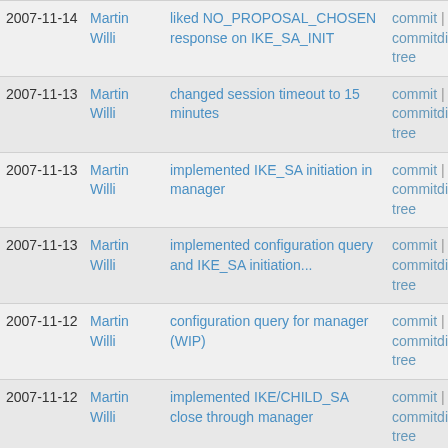| Date | Author | Message | Links |
| --- | --- | --- | --- |
| 2007-11-14 | Martin Willi | liked NO_PROPOSAL_CHOSEN response on IKE_SA_INIT | commit | commitdiff | tree |
| 2007-11-13 | Martin Willi | changed session timeout to 15 minutes | commit | commitdiff | tree |
| 2007-11-13 | Martin Willi | implemented IKE_SA initiation in manager | commit | commitdiff | tree |
| 2007-11-13 | Martin Willi | implemented configuration query and IKE_SA initiation... | commit | commitdiff | tree |
| 2007-11-12 | Martin Willi | configuration query for manager (WIP) | commit | commitdiff | tree |
| 2007-11-12 | Martin Willi | implemented IKE/CHILD_SA close through manager | commit | commitdiff | tree |
| 2007-11-12 | Martin Willi | implemented IKE/CHILD_SA termination through XML interface | commit | commitdiff | tree |